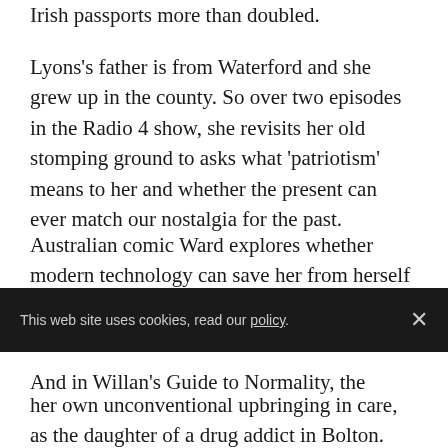Irish passports more than doubled.
Lyons's father is from Waterford and she grew up in the county. So over two episodes in the Radio 4 show, she revisits her old stomping ground to asks what 'patriotism' means to her and whether the present can ever match our nostalgia for the past.
Australian comic Ward explores whether modern technology can save her from herself in Appisodes, as she presents a personal take on depression, insomnia and anxiety.
And in Willan's Guide to Normality, the
her own unconventional upbringing in care, as the daughter of a drug addict in Bolton.